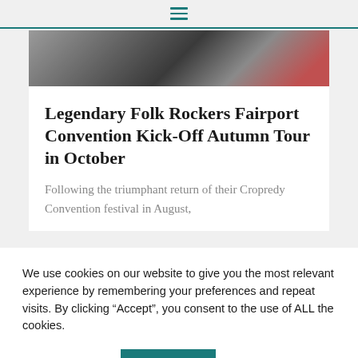☰
[Figure (photo): Partial photo of musicians or performers, cropped at top of article]
Legendary Folk Rockers Fairport Convention Kick-Off Autumn Tour in October
Following the triumphant return of their Cropredy Convention festival in August,
We use cookies on our website to give you the most relevant experience by remembering your preferences and repeat visits. By clicking "Accept", you consent to the use of ALL the cookies.
Cookie settings
ACCEPT